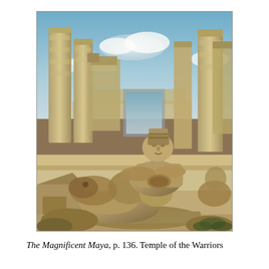[Figure (photo): Photograph of a reclining Chac Mool stone statue in the foreground at the Temple of the Warriors, Chichen Itza. Ancient Maya stone columns and ruins are visible in the background under a partly cloudy blue sky. The statue is carved from weathered stone and depicts a figure lying back with knees raised and head turned.]
The Magnificent Maya, p. 136. Temple of the Warriors